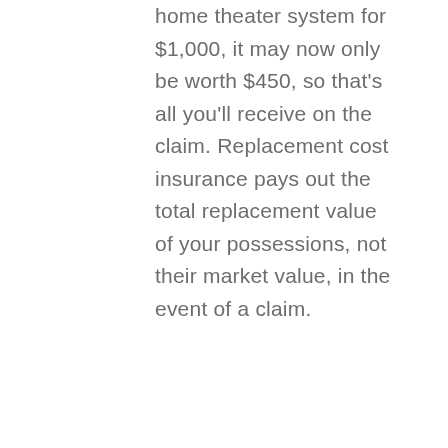home theater system for $1,000, it may now only be worth $450, so that's all you'll receive on the claim. Replacement cost insurance pays out the total replacement value of your possessions, not their market value, in the event of a claim.